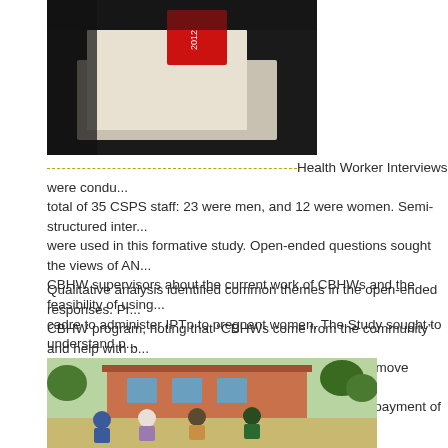[Figure (photo): Photo of a document or paper on a table with a red label/sticker, partially cropped, dark background]
Health Worker Interviews were condu... total of 35 CSPS staff: 23 were men, and 12 were women. Semi-structured inter... were used in this formative study. Open-ended questions sought the views of AN... CBHW supervisors about the current work of CBHWs and the feasibility of using... cadre to administer IPTp to pregnant women. The Study sought to understand p... to design an IPTp-SP intervention involving CBHWs.
Qualitative analysis identified common themes in the open-ended responses. Pr... CBHW program, noting that “CBHWs come from the community” and help with b... barriers. However, CBHWs are not always available or move frequently from on... another. A few male providers noted issues with timely payment of stipends to C...
[Figure (photo): Photo of four people sitting outdoors in front of an orange/brown building with trees, appearing to be in a discussion or meeting]